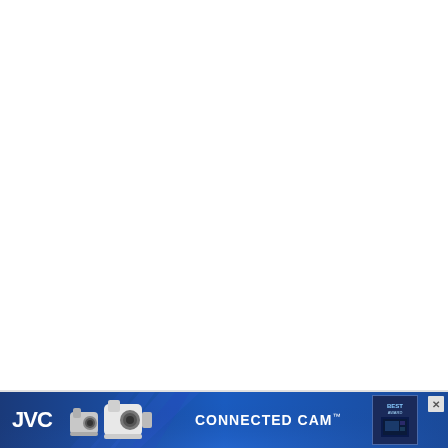[Figure (illustration): Large white/blank area taking up most of the page, likely a content area that has been cleared or is empty.]
[Figure (illustration): JVC Connected Cam advertisement banner. Dark blue background with light ray effects. Shows JVC logo on left, two professional PTZ cameras in center-left, 'CONNECTED CAM' text in white, an award/product box on right, and a close button (X) in top right corner.]